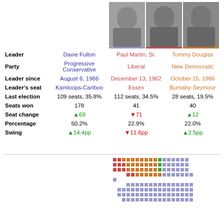[Figure (photo): Black and white portrait photo of Davie Fulton]
[Figure (photo): Black and white portrait photo of Paul Martin, Sr.]
[Figure (photo): Black and white portrait photo of Tommy Douglas]
|  | Davie Fulton | Paul Martin, Sr. | Tommy Douglas |
| --- | --- | --- | --- |
| Leader | Davie Fulton | Paul Martin, Sr. | Tommy Douglas |
| Party | Progressive Conservative | Liberal | New Democratic |
| Leader since | August 6, 1966 | December 13, 1962 | October 15, 1966 |
| Leader's seat | Kamloops-Cariboo | Essex | Burnaby-Seymour |
| Last election | 109 seats, 35.8% | 112 seats, 34.5% | 28 seats, 19.5% |
| Seats won | 178 | 41 | 40 |
| Seat change | ▲69 | ▼71 | ▲12 |
| Percentage | 50.2% | 22.9% | 22.0% |
| Swing | ▲14.4pp | ▼11.6pp | ▲2.5pp |
[Figure (infographic): Seat diagram showing distribution of seats by party color blocks - red for Liberal, orange for Conservative/PC, blue for NDP, green for other]